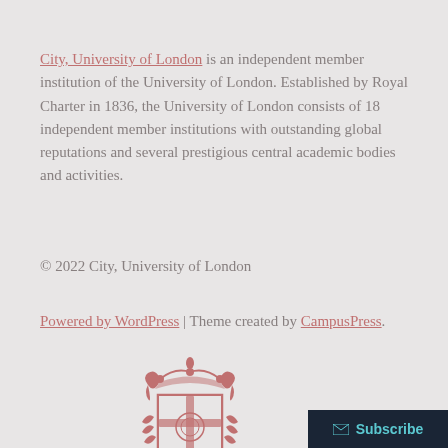City, University of London is an independent member institution of the University of London. Established by Royal Charter in 1836, the University of London consists of 18 independent member institutions with outstanding global reputations and several prestigious central academic bodies and activities.
© 2022 City, University of London
Powered by WordPress | Theme created by CampusPress.
[Figure (logo): City, University of London logo — red/pink heraldic crest above text reading CITY UNIVERSITY OF LONDON EST 1894]